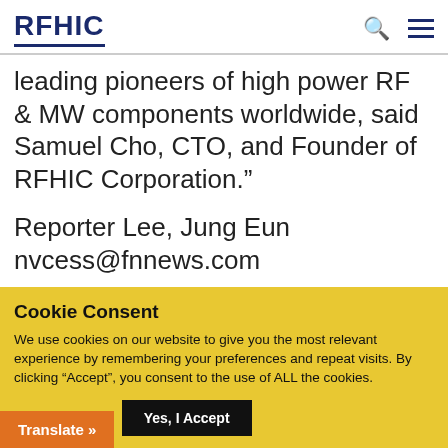RFHIC
leading pioneers of high power RF & MW components worldwide, said Samuel Cho, CTO, and Founder of RFHIC Corporation."
Reporter Lee, Jung Eun nvcess@fnnews.com
Copyright ©mailto:nvcess@fnnews.com Financial News, No unauthorized re-deployment
Cookie Consent
We use cookies on our website to give you the most relevant experience by remembering your preferences and repeat visits. By clicking “Accept”, you consent to the use of ALL the cookies.
Cookie settings   Yes, I Accept
Translate »